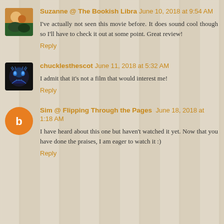Suzanne @ The Bookish Libra June 10, 2018 at 9:54 AM
I've actually not seen this movie before. It does sound cool though so I'll have to check it out at some point. Great review!
Reply
chucklesthescot June 11, 2018 at 5:32 AM
I admit that it's not a film that would interest me!
Reply
Sim @ Flipping Through the Pages June 18, 2018 at 1:18 AM
I have heard about this one but haven't watched it yet. Now that you have done the praises, I am eager to watch it :)
Reply